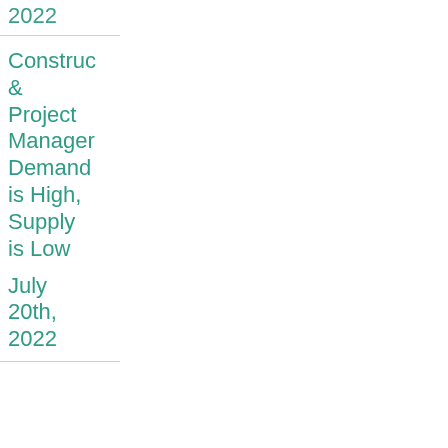2022
Construction & Project Manager Demand is High, Supply is Low
July 20th, 2022